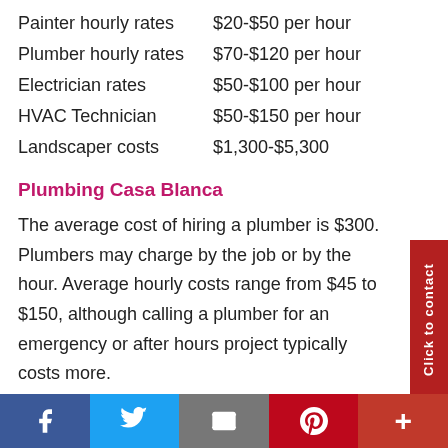Painter hourly rates    $20-$50 per hour
Plumber hourly rates    $70-$120 per hour
Electrician rates    $50-$100 per hour
HVAC Technician    $50-$150 per hour
Landscaper costs    $1,300-$5,300
Plumbing Casa Blanca
The average cost of hiring a plumber is $300. Plumbers may charge by the job or by the hour. Average hourly costs range from $45 to $150, although calling a plumber for an emergency or after hours project typically costs more.
Facebook | Twitter | Email | Pinterest | More